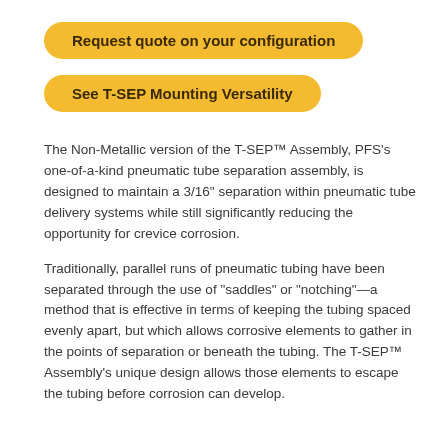Request quote on your configuration
See T-SEP Mounting Versatility
The Non-Metallic version of the T-SEP™ Assembly, PFS's one-of-a-kind pneumatic tube separation assembly, is designed to maintain a 3/16" separation within pneumatic tube delivery systems while still significantly reducing the opportunity for crevice corrosion.
Traditionally, parallel runs of pneumatic tubing have been separated through the use of "saddles" or "notching"—a method that is effective in terms of keeping the tubing spaced evenly apart, but which allows corrosive elements to gather in the points of separation or beneath the tubing. The T-SEP™ Assembly's unique design allows those elements to escape the tubing before corrosion can develop.